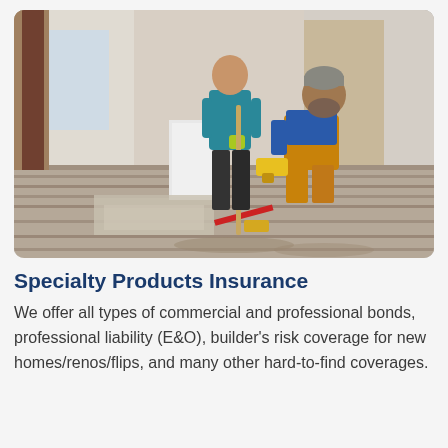[Figure (photo): Two workers renovating a home interior. One man in a teal shirt stands holding a broom/mop handle wearing yellow gloves. Another man in a blue top and brown overalls kneels using a power tool on the wooden floor. The room has bare walls and exposed flooring materials scattered around.]
Specialty Products Insurance
We offer all types of commercial and professional bonds, professional liability (E&O), builder's risk coverage for new homes/renos/flips, and many other hard-to-find coverages.